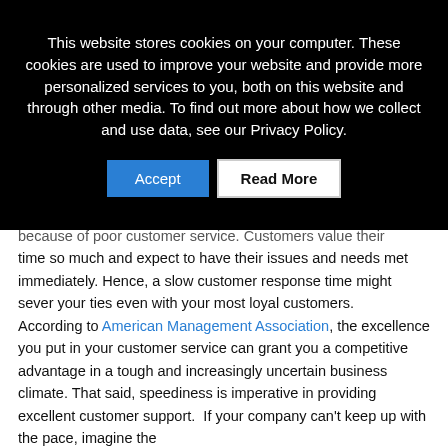This website stores cookies on your computer. These cookies are used to improve your website and provide more personalized services to you, both on this website and through other media. To find out more about how we collect and use data, see our Privacy Policy.
Accept | Read More
because of poor customer service. Customers value their time so much and expect to have their issues and needs met immediately. Hence, a slow customer response time might sever your ties even with your most loyal customers.
According to American Management Association, the excellence you put in your customer service can grant you a competitive advantage in a tough and increasingly uncertain business climate. That said, speediness is imperative in providing excellent customer support.  If your company can't keep up with the pace, imagine the